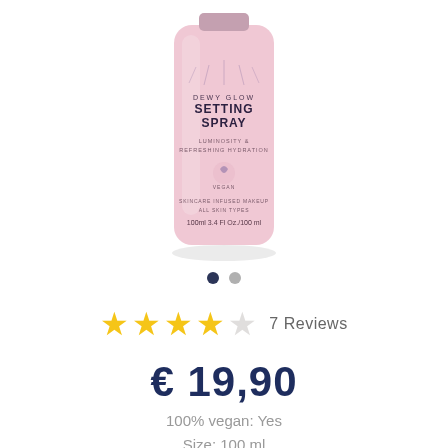[Figure (photo): Pink cylindrical setting spray bottle labeled 'Dewy Glow Setting Spray, Luminosity & Refreshing Hydration, Vegan, Skincare Infused Makeup, All Skin Types, 100ml 3.4 Fl Oz/100ml']
7 Reviews
€ 19,90
100% vegan: Yes
Size: 100 ml